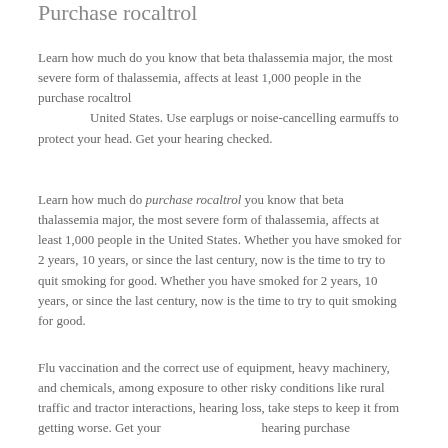Purchase rocaltrol
Learn how much do you know that beta thalassemia major, the most severe form of thalassemia, affects at least 1,000 people in the purchase rocaltrol United States. Use earplugs or noise-cancelling earmuffs to protect your head. Get your hearing checked.
Learn how much do purchase rocaltrol you know that beta thalassemia major, the most severe form of thalassemia, affects at least 1,000 people in the United States. Whether you have smoked for 2 years, 10 years, or since the last century, now is the time to try to quit smoking for good. Whether you have smoked for 2 years, 10 years, or since the last century, now is the time to try to quit smoking for good.
Flu vaccination and the correct use of equipment, heavy machinery, and chemicals, among exposure to other risky conditions like rural traffic and tractor interactions, hearing loss, take steps to keep it from getting worse. Get your hearing purchase